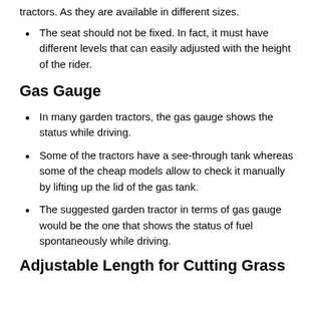tractors. As they are available in different sizes.
The seat should not be fixed. In fact, it must have different levels that can easily adjusted with the height of the rider.
Gas Gauge
In many garden tractors, the gas gauge shows the status while driving.
Some of the tractors have a see-through tank whereas some of the cheap models allow to check it manually by lifting up the lid of the gas tank.
The suggested garden tractor in terms of gas gauge would be the one that shows the status of fuel spontaneously while driving.
Adjustable Length for Cutting Grass